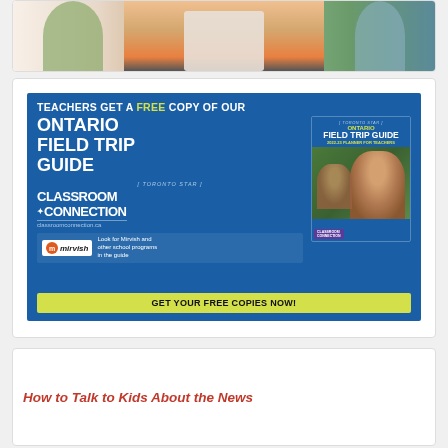[Figure (illustration): Partial view of a colorful illustration showing a teacher reading to children, cropped at the top of the page.]
[Figure (infographic): Advertisement for Ontario Field Trip Guide 2022-23 Planner for Teachers. Blue background with text: TEACHERS GET A FREE COPY OF OUR ONTARIO FIELD TRIP GUIDE. Toronto Star Classroom Connection logo and classroomconnection.ca website. Mirvish logo with text: Look for Mirvish and other school programs in the guide. Book cover image showing smiling child. Yellow-green CTA button: GET YOUR FREE COPIES NOW!]
How to Talk to Kids About the News